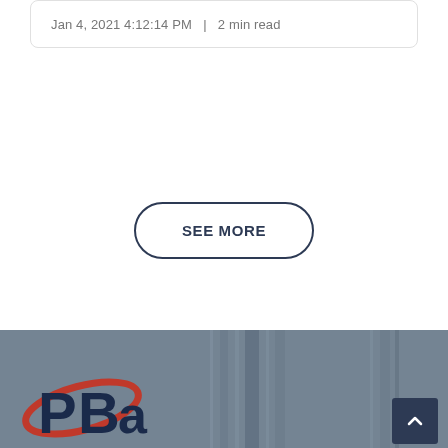Jan 4, 2021 4:12:14 PM  |  2 min read
[Figure (other): SEE MORE button with rounded pill border in dark navy color]
[Figure (logo): PBA logo with red swoosh and dark blue letters on a gray/blue background footer section, with a back-to-top arrow button on the right]